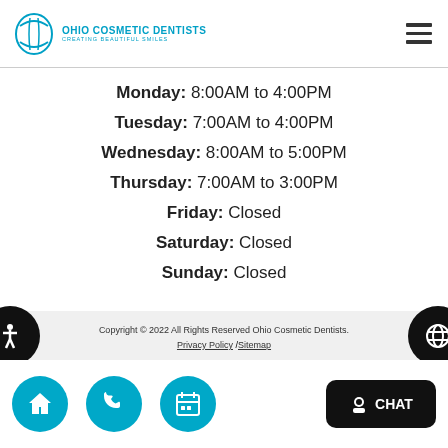Ohio Cosmetic Dentists - Creating Beautiful Smiles
Monday: 8:00AM to 4:00PM
Tuesday: 7:00AM to 4:00PM
Wednesday: 8:00AM to 5:00PM
Thursday: 7:00AM to 3:00PM
Friday: Closed
Saturday: Closed
Sunday: Closed
Copyright © 2022 All Rights Reserved Ohio Cosmetic Dentists. Privacy Policy / Sitemap